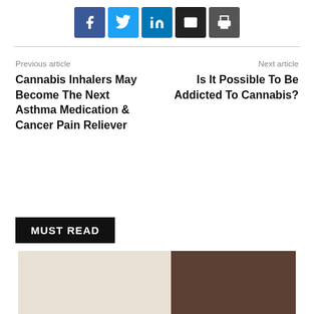[Figure (other): Social sharing buttons: Facebook (blue), Twitter (cyan), LinkedIn (dark blue), Email (black), Print (dark gray)]
Previous article
Cannabis Inhalers May Become The Next Asthma Medication & Cancer Pain Reliever
Next article
Is It Possible To Be Addicted To Cannabis?
MUST READ
[Figure (photo): Partial photo of a person, blurred background with light and dark tones]